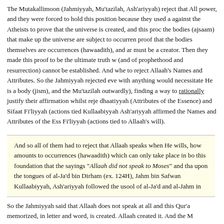The Mutakallimoon (Jahmiyyah, Mu'tazilah, Ash'ariyyah) reject that Allaah has power, and they were forced to hold this position because they used a proof against the Atheists to prove that the universe is created, and this proof is that the bodies (ajsaam) that make up the universe are subject to occurrences, proof that the bodies themselves are occurrences (hawaadith), and are must be a creator. Then they made this proof to be the ultimate truth w (and of prophethood and resurrection) cannot be established. And whe to reject Allaah's Names and Attributes. So the Jahmiyyah rejected eve with anything would necessitate He is a body (jism), and the Mu'tazilah outwardly), finding a way to rationally justify their affirmation whilst rej dhaatiyyah (Attributes of the Essence) and Sifaat Fi'liyyah (actions tied Kullaabiyyah Ash'ariyyah affirmed the Names and Attributes of the Ess Fi'liyyah (actions tied to Allaah's will).
And so all of them had to reject that Allaah speaks when He wills, how amounts to occurrences (hawaadith) which can only take place in bo this foundation that the sayings "Allaah did not speak to Moses" and tha upon the tongues of al-Ja'd bin Dirham (ex. 124H), Jahm bin Safwan Kullaabiyyah, Ash'ariyyah followed the usool of al-Ja'd and al-Jahm in
So the Jahmiyyah said that Allaah does not speak at all and this Qur'a memorized, in letter and word, is created. Allaah created it. And the M